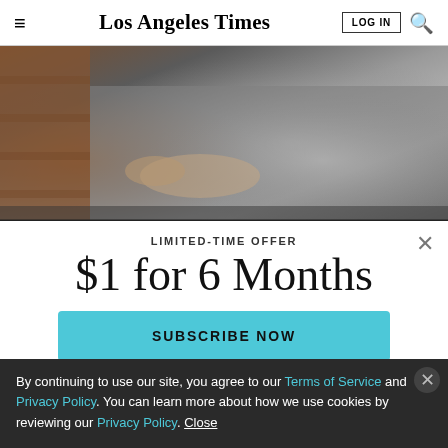Los Angeles Times
[Figure (photo): Close-up photo of a person in military camouflage uniform holding or touching something against a brick wall]
LIMITED-TIME OFFER
$1 for 6 Months
SUBSCRIBE NOW
By continuing to use our site, you agree to our Terms of Service and Privacy Policy. You can learn more about how we use cookies by reviewing our Privacy Policy. Close